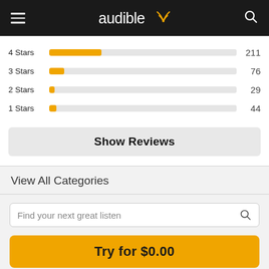audible
[Figure (bar-chart): Star ratings distribution]
Show Reviews
View All Categories
Find your next great listen
Try for $0.00
$14.95/month after 30 days. Cancel anytime.